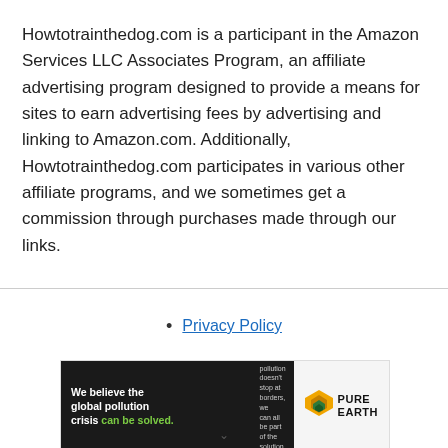Howtotrainthedog.com is a participant in the Amazon Services LLC Associates Program, an affiliate advertising program designed to provide a means for sites to earn advertising fees by advertising and linking to Amazon.com. Additionally, Howtotrainthedog.com participates in various other affiliate programs, and we sometimes get a commission through purchases made through our links.
Privacy Policy
[Figure (other): Pure Earth advertisement banner: dark background with text 'We believe the global pollution crisis can be solved.' and 'In a world where pollution doesn't stop at borders, we can all be part of the solution. JOIN US.' with Pure Earth logo on right.]